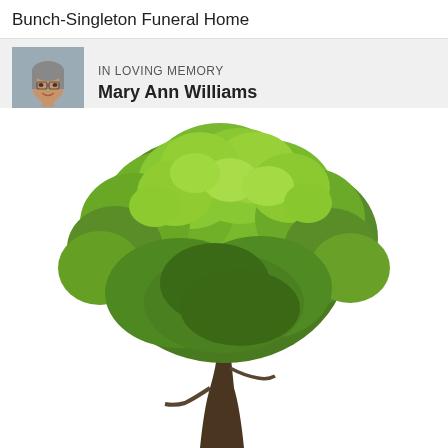Bunch-Singleton Funeral Home
IN LOVING MEMORY
Mary Ann Williams
[Figure (photo): Large green deciduous tree with full canopy on white background, shown from slightly below, trunk visible at center bottom, lush summer foliage in greens and yellows.]